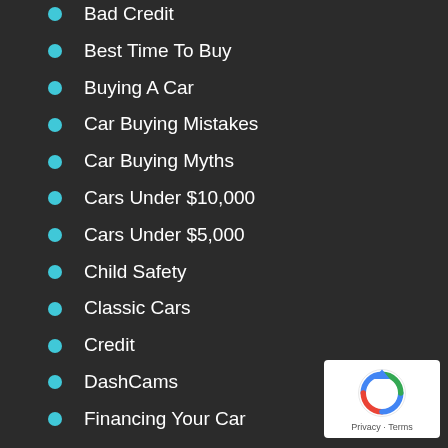Bad Credit
Best Time To Buy
Buying A Car
Car Buying Mistakes
Car Buying Myths
Cars Under $10,000
Cars Under $5,000
Child Safety
Classic Cars
Credit
DashCams
Financing Your Car
First Time Buyers
From Your Salesman
Fuel Economy
[Figure (logo): reCAPTCHA badge with Privacy and Terms text]